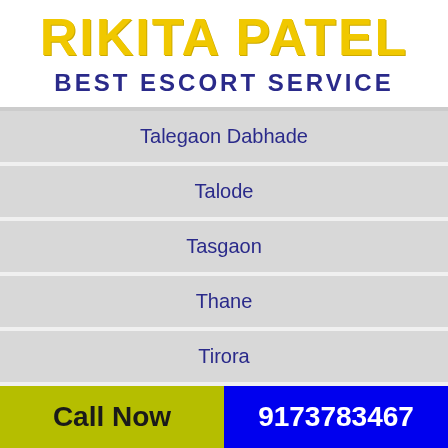RIKITA PATEL
BEST ESCORT SERVICE
Talegaon Dabhade
Talode
Tasgaon
Thane
Tirora
Tuljapur
Call Now  9173783467